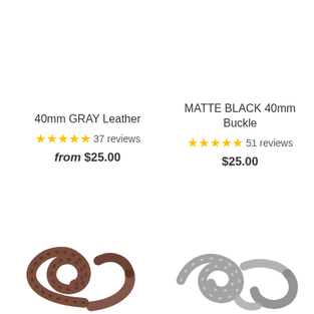40mm GRAY Leather
★★★★★ 37 reviews
from $25.00
MATTE BLACK 40mm Buckle
★★★★★ 51 reviews
$25.00
[Figure (photo): Curled brown leather strap spiraling on white background]
[Figure (photo): Curled matte silver/gray metal buckle strap spiraling on white background]